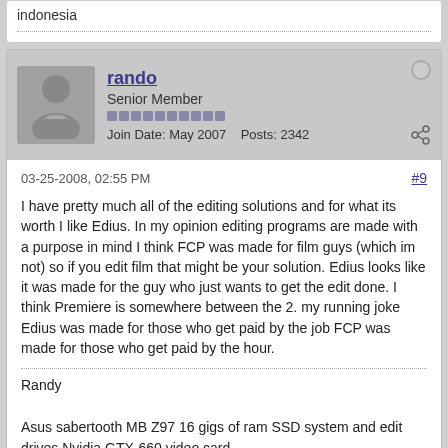indonesia
rando
Senior Member
Join Date: May 2007    Posts: 2342
03-25-2008, 02:55 PM
#9
I have pretty much all of the editing solutions and for what its worth I like Edius. In my opinion editing programs are made with a purpose in mind I think FCP was made for film guys (which im not) so if you edit film that might be your solution. Edius looks like it was made for the guy who just wants to get the edit done. I think Premiere is somewhere between the 2. my running joke Edius was made for those who get paid by the job FCP was made for those who get paid by the hour.
Randy
Asus sabertooth MB Z97 16 gigs of ram SSD system and edit drives Nvidia GTX-660 video card